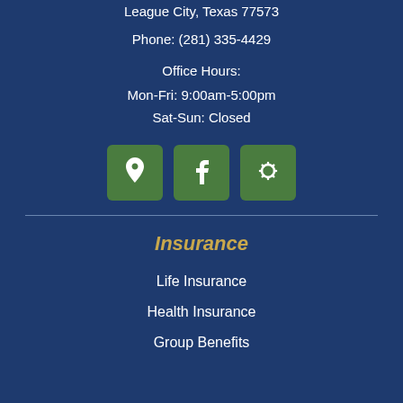League City, Texas 77573
Phone: (281) 335-4429
Office Hours:
Mon-Fri: 9:00am-5:00pm
Sat-Sun: Closed
[Figure (other): Three green square icon buttons: map pin/location icon, Facebook icon, and Yelp icon]
Insurance
Life Insurance
Health Insurance
Group Benefits (partially visible)